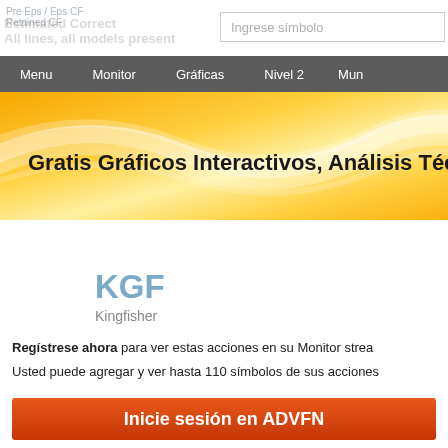Pre Eps / Eps CF
Retained CF
[Figure (screenshot): Search box with placeholder text 'Ingrese símbolo']
Menu  Monitor  Gráficas  Nivel 2  Mun
[Figure (infographic): Orange wave banner with bold text: Gratis Gráficos Interactivos, Análisis Técn]
KGF
Kingfisher
Regístrese ahora para ver estas acciones en su Monitor strea
Usted puede agregar y ver hasta 110 símbolos de sus acciones
[Figure (screenshot): Red button: Inicie sesión en ADVFN]